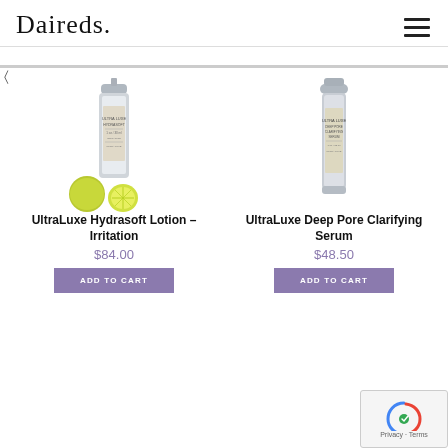Daireds
[Figure (photo): UltraLuxe Hydrasoft Lotion product bottle with lime/citrus fruits]
UltraLuxe Hydrasoft Lotion – Irritation
$84.00
ADD TO CART
[Figure (photo): UltraLuxe Deep Pore Clarifying Serum product bottle]
UltraLuxe Deep Pore Clarifying Serum
$48.50
ADD TO CART